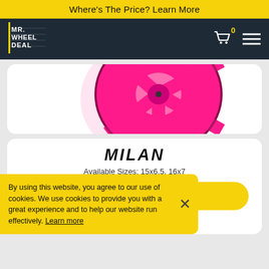Where's The Price? Learn More
[Figure (logo): Mr. Wheel Deal logo — white stacked text on dark background]
[Figure (photo): Pink/hot-pink 5-spoke car wheel/rim, angled view showing front face]
MILAN
Available Sizes: 15x6.5, 16x7
VIEW MILAN
Gray
By using this website, you agree to our use of cookies. We use cookies to provide you with a great experience and to help our website run effectively. Learn more